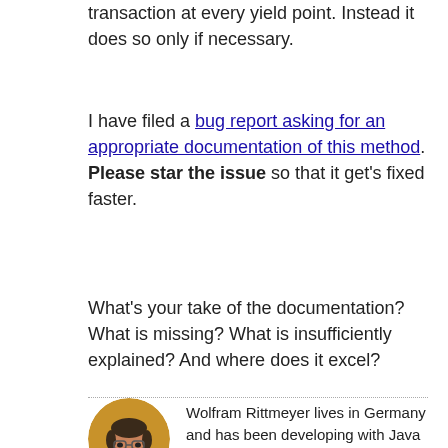Android will not necessarily commit your transaction at every yield point. Instead it does so only if necessary.
I have filed a bug report asking for an appropriate documentation of this method. Please star the issue so that it get's fixed faster.
What's your take of the documentation? What is missing? What is insufficiently explained? And where does it excel?
[Figure (photo): Circular portrait photo of Wolfram Rittmeyer, a man with glasses and dark hair wearing a black top, against an orange/yellow background.]
Wolfram Rittmeyer lives in Germany and has been developing with Java for many years.